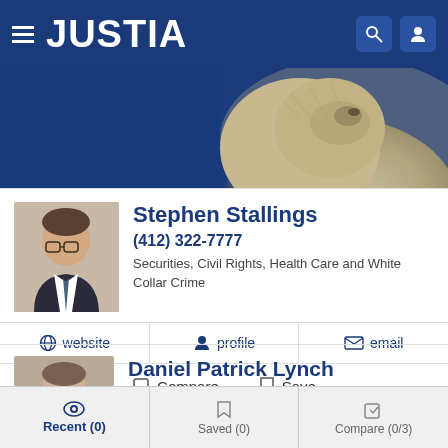JUSTIA
[Figure (photo): Justia website header with bear image banner]
Stephen Stallings
(412) 322-7777
Securities, Civil Rights, Health Care and White Collar Crime
website   profile   email
Compare   Save
Daniel Patrick Lynch
(724) 776-8000
Securities, Business, Employment and Estate Planning
Recent (0)   Saved (0)   Compare (0/3)